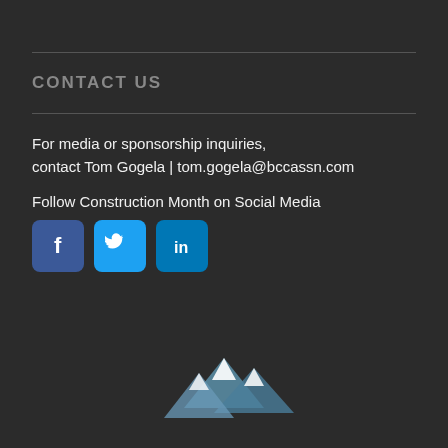CONTACT US
For media or sponsorship inquiries, contact Tom Gogela | tom.gogela@bccassn.com
Follow Construction Month on Social Media
[Figure (illustration): Three social media icons: Facebook (blue square with f), Twitter (light blue square with bird), LinkedIn (blue square with in)]
[Figure (illustration): Mountain range silhouette logo at the bottom center of the page, light blue/white color on dark background]